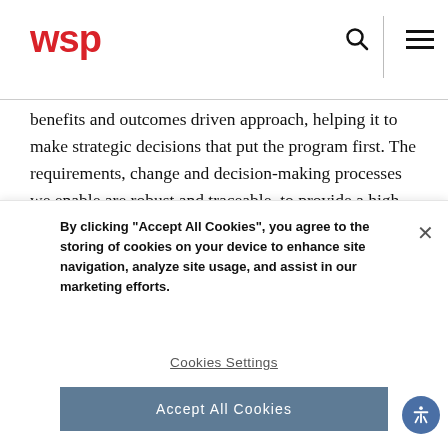WSP
benefits and outcomes driven approach, helping it to make strategic decisions that put the program first. The requirements, change and decision-making processes we enable are robust and traceable, to provide a high level of accountability.
Operational and geographical
By clicking “Accept All Cookies”, you agree to the storing of cookies on your device to enhance site navigation, analyze site usage, and assist in our marketing efforts.
Cookies Settings
Accept All Cookies